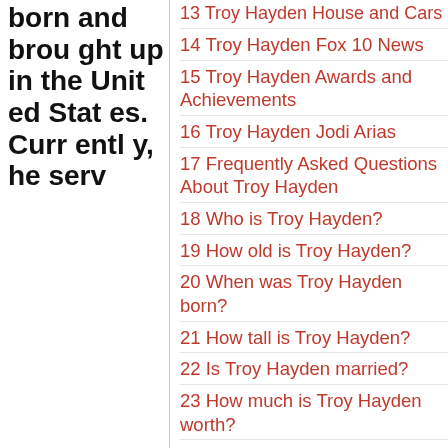born and brought up in the United States. Currently, he serv
13 Troy Hayden House and Cars
14 Troy Hayden Fox 10 News
15 Troy Hayden Awards and Achievements
16 Troy Hayden Jodi Arias
17 Frequently Asked Questions About Troy Hayden
18 Who is Troy Hayden?
19 How old is Troy Hayden?
20 When was Troy Hayden born?
21 How tall is Troy Hayden?
22 Is Troy Hayden married?
23 How much is Troy Hayden worth?
24 How much does Troy Hayden make?
25 Where does Hayden live?
26 Is Hayden dead or alive?
27 Where is Hayden Now?